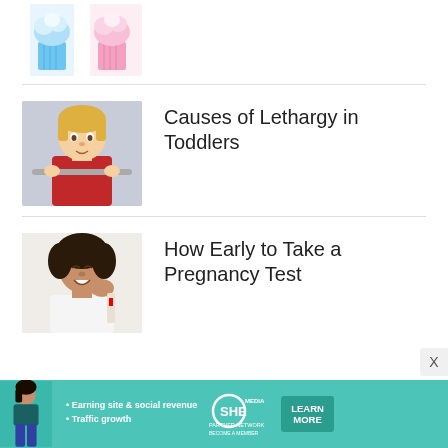[Figure (photo): Two cupcakes - one blue and one pink with white frosting, partially visible at top of page]
[Figure (photo): Young blonde toddler girl in red jacket holding onto a shopping cart railing, looking at camera]
Causes of Lethargy in Toddlers
[Figure (photo): Young Black woman with curly hair holding a pregnancy test, looking surprised and happy]
How Early to Take a Pregnancy Test
[Figure (infographic): SHE Media Partner Network advertisement banner with woman, bullet points about earning site & social revenue and traffic growth, SHE logo, and Learn More button]